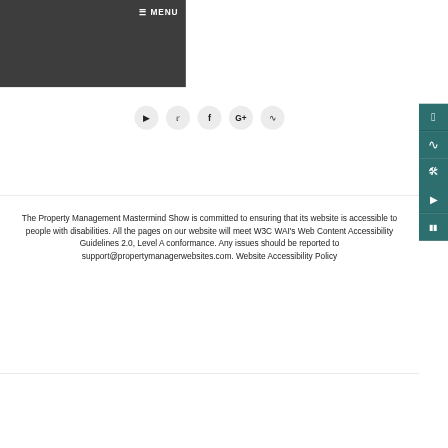≡ MENU
[Figure (other): Row of social media icon circles: YouTube, Twitter, Facebook, Google+, RSS feed]
The Property Management Mastermind Show is committed to ensuring that its website is accessible to people with disabilities. All the pages on our website will meet W3C WAI's Web Content Accessibility Guidelines 2.0, Level A conformance. Any issues should be reported to support@propertymanagerwebsites.com. Website Accessibility Policy